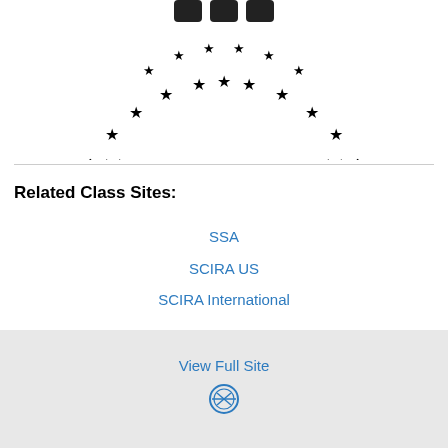[Figure (logo): Partial circular seal/logo with stars around the border, black and white, cropped at top]
Related Class Sites:
SSA
SCIRA US
SCIRA International
View Full Site